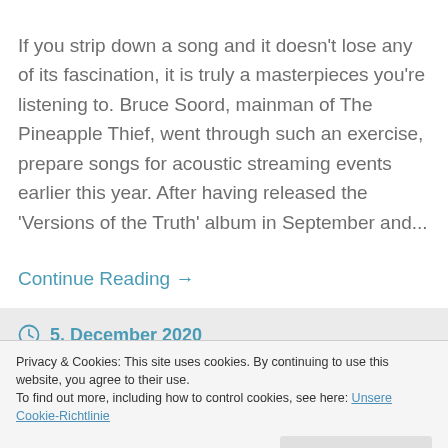If you strip down a song and it doesn't lose any of its fascination, it is truly a masterpieces you're listening to. Bruce Soord, mainman of The Pineapple Thief, went through such an exercise, prepare songs for acoustic streaming events earlier this year. After having released the 'Versions of the Truth' album in September and...
Continue Reading →
5. December 2020
Privacy & Cookies: This site uses cookies. By continuing to use this website, you agree to their use.
To find out more, including how to control cookies, see here: Unsere Cookie-Richtlinie
Close and accept